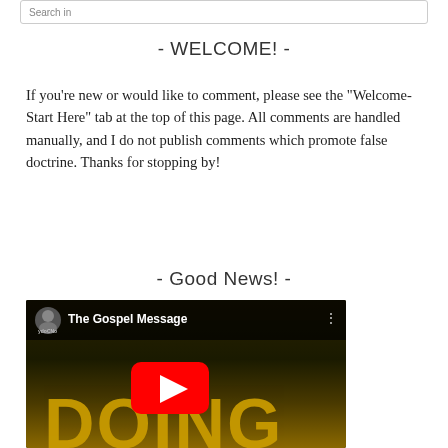Search in
- WELCOME! -
If you're new or would like to comment, please see the "Welcome- Start Here" tab at the top of this page. All comments are handled manually, and I do not publish comments which promote false doctrine. Thanks for stopping by!
- Good News! -
[Figure (screenshot): YouTube video embed titled 'The Gospel Message' with a red play button in the center, showing a man with sunglasses as the channel avatar and large yellow text (DOING/DONG) in the background]